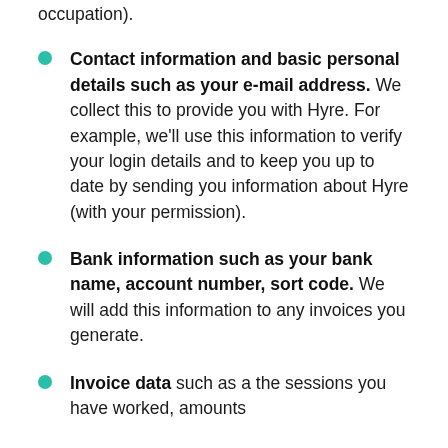occupation).
Contact information and basic personal details such as your e-mail address. We collect this to provide you with Hyre. For example, we'll use this information to verify your login details and to keep you up to date by sending you information about Hyre (with your permission).
Bank information such as your bank name, account number, sort code. We will add this information to any invoices you generate.
Invoice data such as a the sessions you have worked, amounts